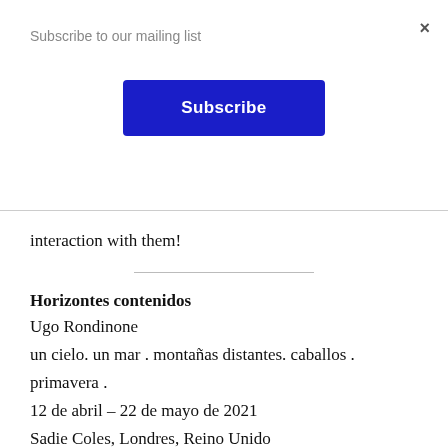Subscribe to our mailing list
Subscribe
×
interaction with them!
Horizontes contenidos
Ugo Rondinone
un cielo. un mar . montañas distantes. caballos . primavera .
12 de abril – 22 de mayo de 2021
Sadie Coles, Londres, Reino Unido
La última exposición de arte que vi que conectó